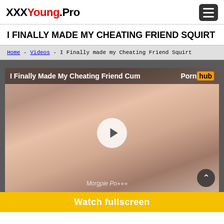XXXYoung.Pro
I FINALLY MADE MY CHEATING FRIEND SQUIRT
Home - Videos - I Finally made my Cheating Friend Squirt
[Figure (screenshot): Video thumbnail showing adult content with play button overlay and 'I Finally Made My Cheating Friend Cum Pornhub' title bar]
Watch fullscreen